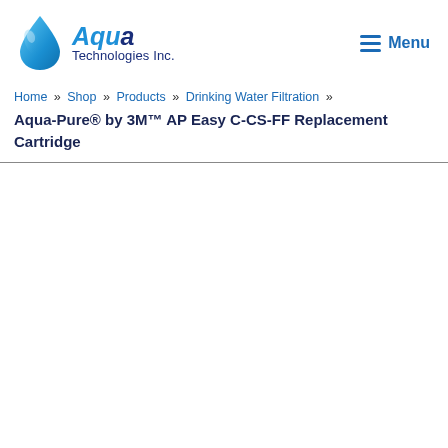[Figure (logo): Aqua Technologies Inc. logo with blue water drop and company name in navy/blue italic text]
Menu
Home » Shop » Products » Drinking Water Filtration » Aqua-Pure® by 3M™ AP Easy C-CS-FF Replacement Cartridge